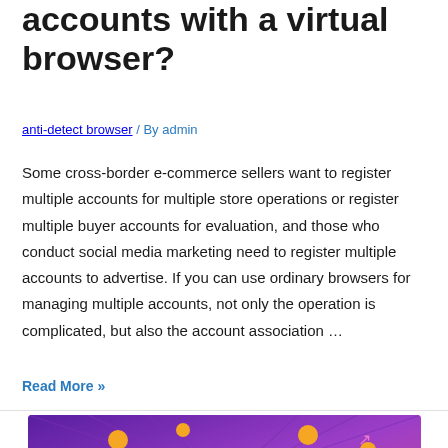accounts with a virtual browser?
anti-detect browser / By admin
Some cross-border e-commerce sellers want to register multiple accounts for multiple store operations or register multiple buyer accounts for evaluation, and those who conduct social media marketing need to register multiple accounts to advertise. If you can use ordinary browsers for managing multiple accounts, not only the operation is complicated, but also the account association …
Read More »
[Figure (illustration): Promotional banner for Incognito Browser with cartoon character, pink arch, orange circles, and purple/pink gradient background]